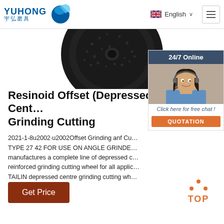YUHONG 宇弘磨具 | English
[Figure (photo): Black grinding/cutting wheel disc viewed from above, circular with textured abrasive surface]
[Figure (photo): 24/7 Online chat widget with photo of woman wearing headset, blue blouse, smiling. Includes 'Click here for free chat!' text and orange QUOTATION button.]
Resinoid Offset (Depressed Centre) Grinding Cutting
2021-1-8u2002·u2002Offset Grinding anf Cu... TYPE 27 42 FOR USE ON ANGLE GRINDE... manufactures a complete line of depressed c... reinforced grinding cutting wheel for all applic... TAILIN depressed centre grinding cutting wh... formulated to …
Get Price
[Figure (other): Orange TOP back-to-top button icon with dots forming triangle above text TOP]